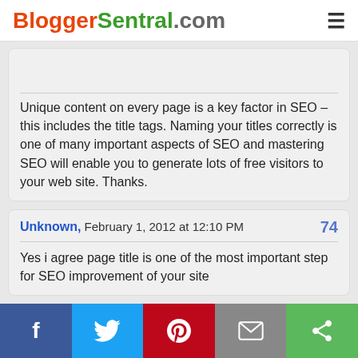BloggerSentral.com
Unique content on every page is a key factor in SEO – this includes the title tags. Naming your titles correctly is one of many important aspects of SEO and mastering SEO will enable you to generate lots of free visitors to your web site. Thanks.
Unknown, February 1, 2012 at 12:10 PM 74
Yes i agree page title is one of the most important step for SEO improvement of your site
Nible, February 11, 2012 at 2:50 AM 75
thx alot